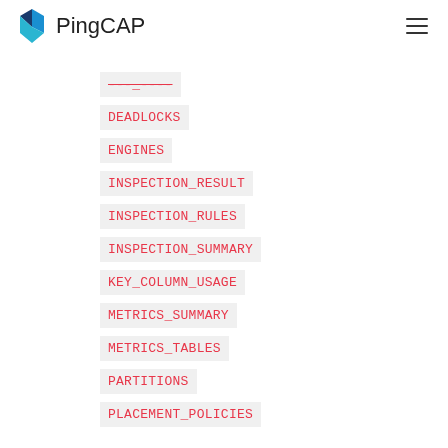PingCAP
---_----
DEADLOCKS
ENGINES
INSPECTION_RESULT
INSPECTION_RULES
INSPECTION_SUMMARY
KEY_COLUMN_USAGE
METRICS_SUMMARY
METRICS_TABLES
PARTITIONS
PLACEMENT_POLICIES